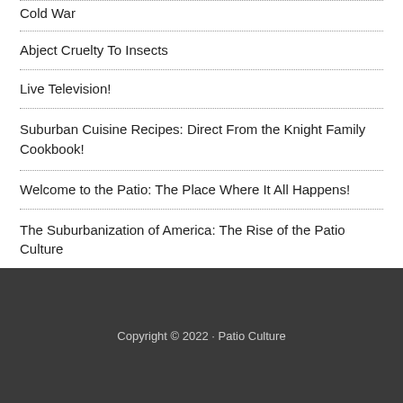Cold War
Abject Cruelty To Insects
Live Television!
Suburban Cuisine Recipes: Direct From the Knight Family Cookbook!
Welcome to the Patio: The Place Where It All Happens!
The Suburbanization of America: The Rise of the Patio Culture
Copyright © 2022 · Patio Culture